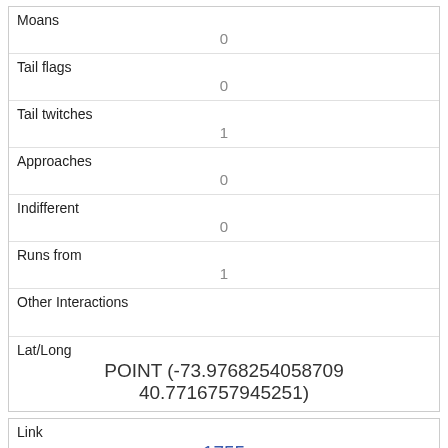| Moans | 0 |
| Tail flags | 0 |
| Tail twitches | 1 |
| Approaches | 0 |
| Indifferent | 0 |
| Runs from | 1 |
| Other Interactions |  |
| Lat/Long | POINT (-73.9768254058709 40.7716757945251) |
| Link | 1755 |
| rowid | 1755 |